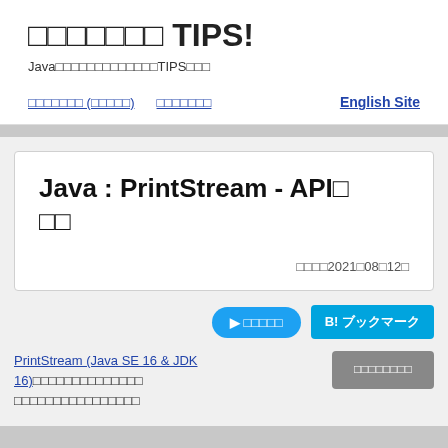□□□□□□□ TIPS!
Java□□□□□□□□□□□□□TIPS□□□
□□□□□□□ (□□□□□)　□□□□□□□　English Site
Java : PrintStream - API□□□□
□□□□2021□08□12□
□ □□□□□　B! ブックマーク
PrintStream (Java SE 16 & JDK 16)□□□□□□□□□□□□□□□□□□□□□□□□□□□　□□□□□□□□